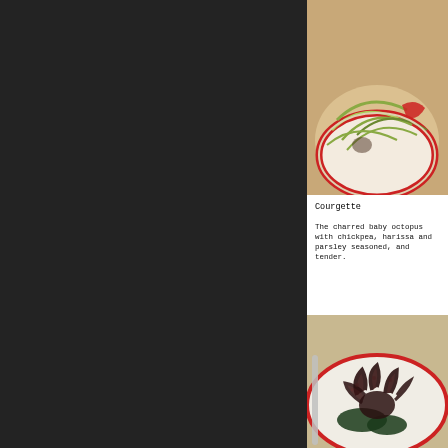[Figure (photo): Top-down photo of a bowl with red rim containing courgette and vegetable dish, set on a wooden background]
Courgette
The charred baby octopus with chickpea, harissa and parsley seasoned, and tender.
[Figure (photo): Photo of charred baby octopus dish served in a white bowl with red stripe, with dark green leaves]